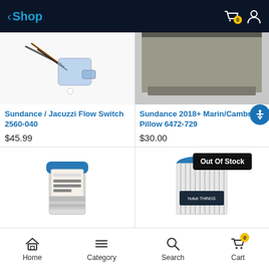Shop
[Figure (photo): Sundance / Jacuzzi Flow Switch 2560-040 product photo showing wires and transparent flow switch component]
Sundance / Jacuzzi Flow Switch 2560-040
$45.99
[Figure (photo): Sundance 2018+ Marin/Cambria Pillow 6472-729 product photo showing gray headrest pillow]
Sundance 2018+ Marin/Cambria Pillow 6472-729
$30.00
[Figure (photo): ProClear filter cartridge product photo]
[Figure (photo): Hot tub filter cartridge product photo with Out Of Stock badge]
Home  Category  Search  Cart